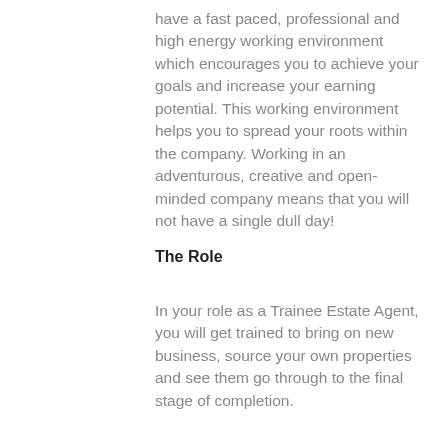have a fast paced, professional and high energy working environment which encourages you to achieve your goals and increase your earning potential. This working environment helps you to spread your roots within the company. Working in an adventurous, creative and open-minded company means that you will not have a single dull day!
The Role
In your role as a Trainee Estate Agent, you will get trained to bring on new business, source your own properties and see them go through to the final stage of completion.